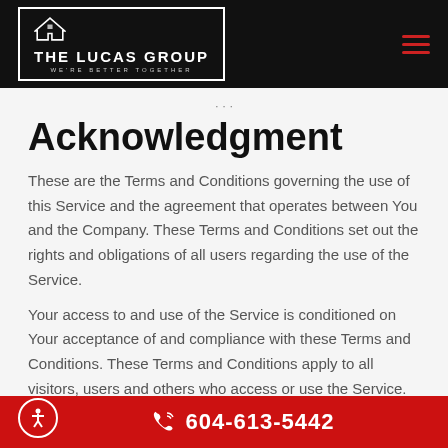THE LUCAS GROUP — WE'RE BETTER TOGETHER
Acknowledgment
These are the Terms and Conditions governing the use of this Service and the agreement that operates between You and the Company. These Terms and Conditions set out the rights and obligations of all users regarding the use of the Service.
Your access to and use of the Service is conditioned on Your acceptance of and compliance with these Terms and Conditions. These Terms and Conditions apply to all visitors, users and others who access or use the Service.
604-613-5442